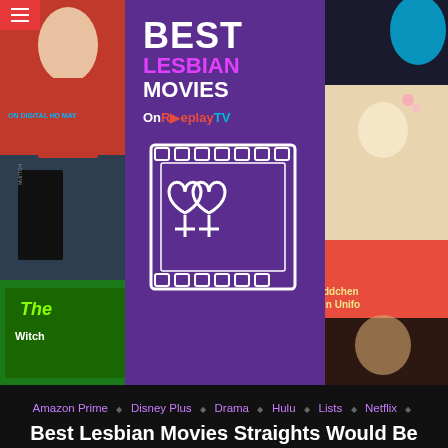[Figure (illustration): Hero image for an article about best lesbian movies. Center purple banner reads BEST LESBIAN MOVIES with OnReplayTV branding and a double-female symbol in a film strip frame. Left and right sides show movie poster collages.]
☰ (hamburger menu icon in red bar)
Amazon Prime
Disney Plus
Drama
Hulu
Lists
Netflix
Romance
Thriller
Best Lesbian Movies Straights Would Be